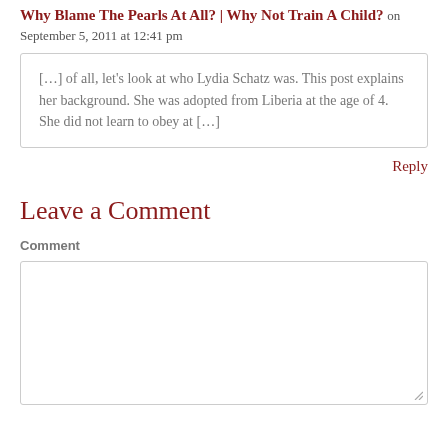Why Blame The Pearls At All? | Why Not Train A Child? on September 5, 2011 at 12:41 pm
[…] of all, let's look at who Lydia Schatz was. This post explains her background. She was adopted from Liberia at the age of 4. She did not learn to obey at […]
Reply
Leave a Comment
Comment